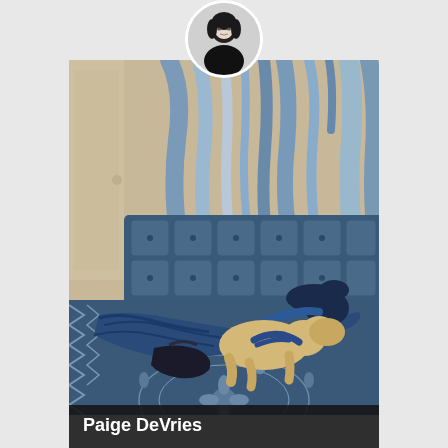[Figure (photo): Black and white circular profile photo of a woman with dark hair against a light background]
[Figure (illustration): A painting showing a figure dressed in blue lying on the floor beside a cream-colored dog on an ornate blue patterned rug, with blue tufted sofa and flowing blue and grey curtains in the background]
Paige DeVries